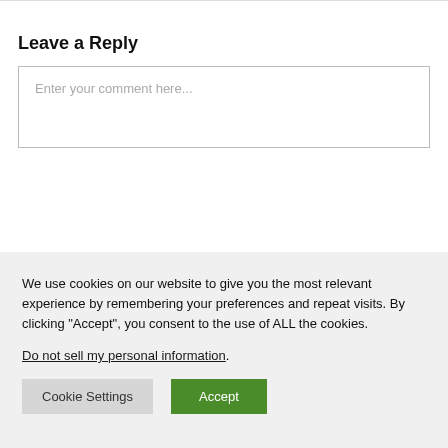Leave a Reply
Enter your comment here...
We use cookies on our website to give you the most relevant experience by remembering your preferences and repeat visits. By clicking “Accept”, you consent to the use of ALL the cookies.
Do not sell my personal information.
Cookie Settings
Accept